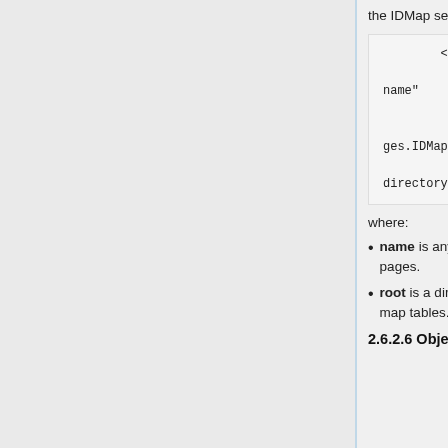the IDMap servlet. The configuration element for the IDMap is:
<Processor
                name="stage name"

            class="org.rsna.ctp.stdstages.IDMap"
                root="root-directory" />
where:
name is any text to be used as a label on configuration and status pages.
root is a directory for use by the IDMap for permanent storage of the map tables.
2.6.2.6 ObjectTracker